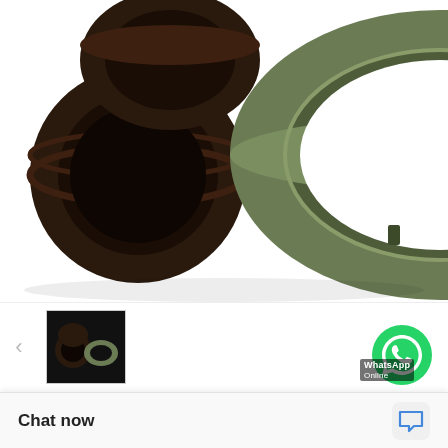[Figure (photo): Product photo showing two guide rings: a dark brown/black ring and an olive green ring, photographed on white background]
[Figure (photo): Thumbnail image of the guide rings product]
GP6501200-T47 G 120X115X5.6-47-BR ONZE FILLED GUIDE RINGS MODELS
Need a CAD or 3D Model?
Contact Now
WhatsApp
Chat now